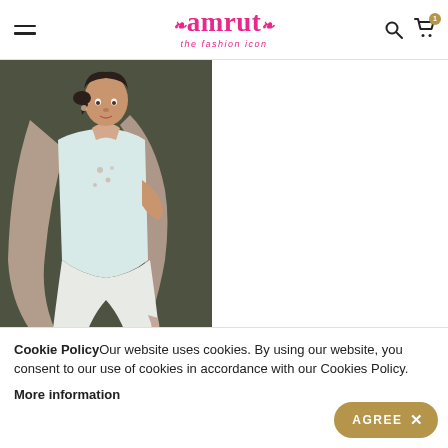amrut the fashion icon — navigation header with hamburger menu, logo, search and cart icons
[Figure (photo): Woman wearing a light blue sleeveless kurta with embroidery and a taupe/mauve embroidered dupatta, paired with white wide-leg palazzo pants and sandals, posed against an olive-green studio background]
Cookie Policy Our website uses cookies. By using our website, you consent to our use of cookies in accordance with our Cookies Policy.
More information
AGREE ×